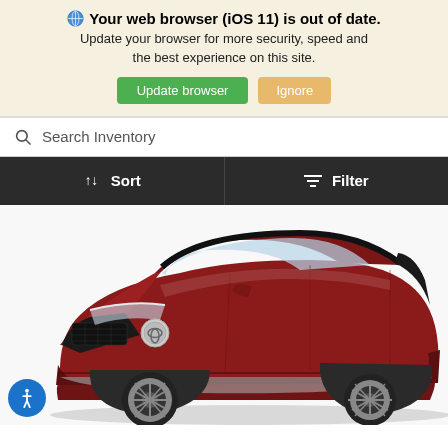Your web browser (iOS 11) is out of date. Update your browser for more security, speed and the best experience on this site.
Update browser | Ignore
Search Inventory
Sort | Filter
[Figure (photo): Red Toyota Highlander SUV shown from front-left angle on white background]